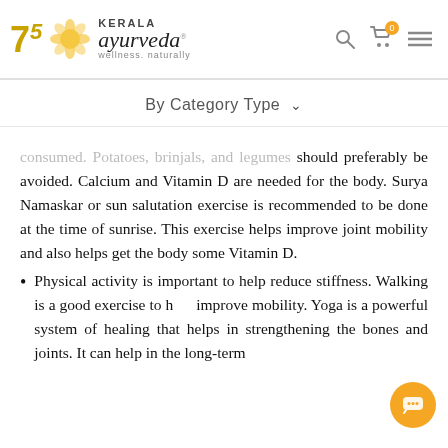Kerala Ayurveda — wellness. naturally
By Category Type
consumed. Potatoes, brinjals, and legumes should preferably be avoided. Calcium and Vitamin D are needed for the body. Surya Namaskar or sun salutation exercise is recommended to be done at the time of sunrise. This exercise helps improve joint mobility and also helps get the body some Vitamin D.
Physical activity is important to help reduce stiffness. Walking is a good exercise to help improve mobility. Yoga is a powerful system of healing that helps in strengthening the bones and joints. It can help in the long-term